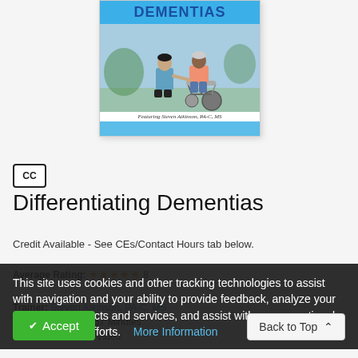[Figure (illustration): Book cover for 'Differentiating Dementias' featuring a healthcare worker (nurse in scrubs) attending to an elderly man in a wheelchair outdoors. Text reads 'Featuring Steven Atkinson, PA-C, MS'. The cover has a blue background and header bar.]
[Figure (other): Closed captioning (CC) icon — a square with rounded corners containing 'CC' text]
Differentiating Dementias
Credit Available - See CEs/Contact Hours tab below.
Average Rating: ★★★★★ 8
This site uses cookies and other tracking technologies to assist with navigation and your ability to provide feedback, analyze your use of our products and services, and assist with our promotional and marketing efforts.    More Information
Trainer: Steven Atkinson, PA-C, MS
Duration: 2 Hours 57 Minutes
Format: Audio and Video